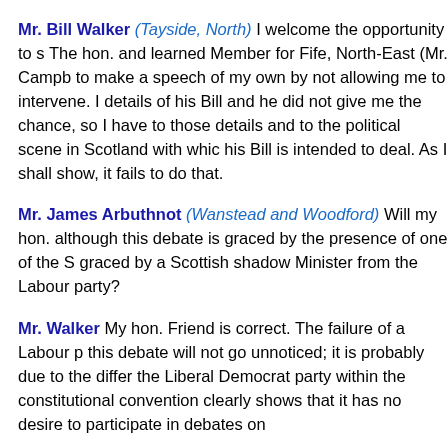Mr. Bill Walker (Tayside, North) I welcome the opportunity to s The hon. and learned Member for Fife, North-East (Mr. Campb to make a speech of my own by not allowing me to intervene. I details of his Bill and he did not give me the chance, so I have to those details and to the political scene in Scotland with whic his Bill is intended to deal. As I shall show, it fails to do that.
Mr. James Arbuthnot (Wanstead and Woodford) Will my hon. although this debate is graced by the presence of one of the S graced by a Scottish shadow Minister from the Labour party?
Mr. Walker My hon. Friend is correct. The failure of a Labour p this debate will not go unnoticed; it is probably due to the differ the Liberal Democrat party within the constitutional convention clearly shows that it has no desire to participate in debates on
The hon. Member for Orkney and Shetland (Mr. Wallace) ment course there are advantages in studying what other countries a about comparisons with countries that have only recently eme be described as skin deep. We wish them well, but in the Unite